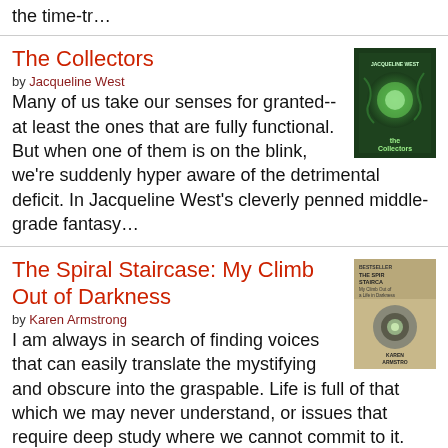the time-tr…
The Collectors
by Jacqueline West
Many of us take our senses for granted-- at least the ones that are fully functional. But when one of them is on the blink, we're suddenly hyper aware of the detrimental deficit. In Jacqueline West's cleverly penned middle-grade fantasy…
The Spiral Staircase: My Climb Out of Darkness
by Karen Armstrong
I am always in search of finding voices that can easily translate the mystifying and obscure into the graspable. Life is full of that which we may never understand, or issues that require deep study where we cannot commit to it. Karen Ar…